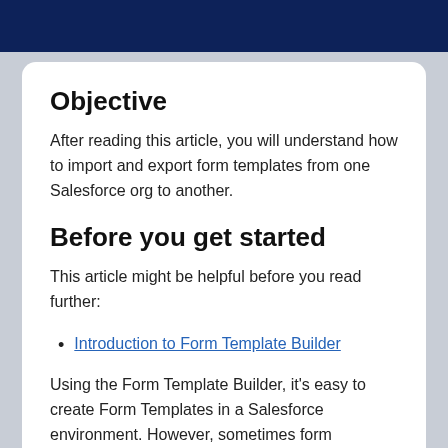Objective
After reading this article, you will understand how to import and export form templates from one Salesforce org to another.
Before you get started
This article might be helpful before you read further:
Introduction to Form Template Builder
Using the Form Template Builder, it's easy to create Form Templates in a Salesforce environment. However, sometimes form templates need to be moved between